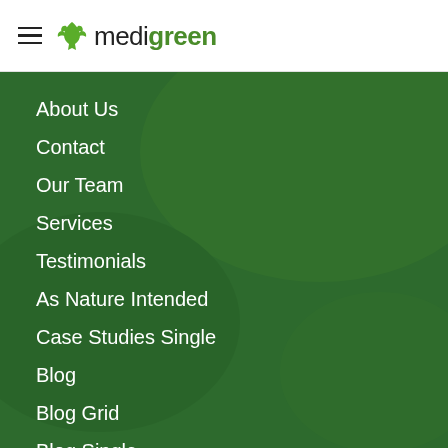medigreen
About Us
Contact
Our Team
Services
Testimonials
As Nature Intended
Case Studies Single
Blog
Blog Grid
Blog Single
Contact Us
Elements
Accordions & Tabs
Blog Layouts
Buttons
Call To Action